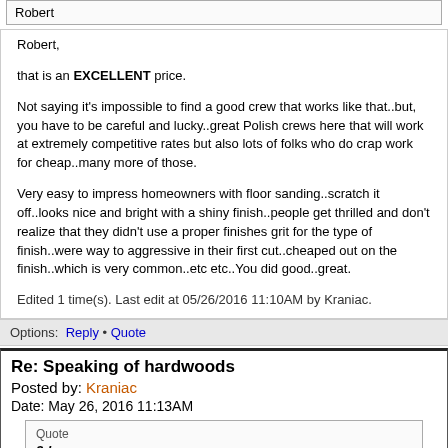Robert
Robert,

that is an EXCELLENT price.

Not saying it's impossible to find a good crew that works like that..but, you have to be careful and lucky..great Polish crews here that will work at extremely competitive rates but also lots of folks who do crap work for cheap..many more of those.

Very easy to impress homeowners with floor sanding..scratch it off..looks nice and bright with a shiny finish..people get thrilled and don't realize that they didn't use a proper finishes grit for the type of finish..were way to aggressive in their first cut..cheaped out on the finish..which is very common..etc etc..You did good..great.
Edited 1 time(s). Last edit at 05/26/2016 11:10AM by Kraniac.
Options: Reply • Quote
Re: Speaking of hardwoods
Posted by: Kraniac
Date: May 26, 2016 11:13AM
Quote
3d
I believe it's mostly the timing of the entire job that bazookaman is most concerned with. Cost/number of coats/products used is secondary.